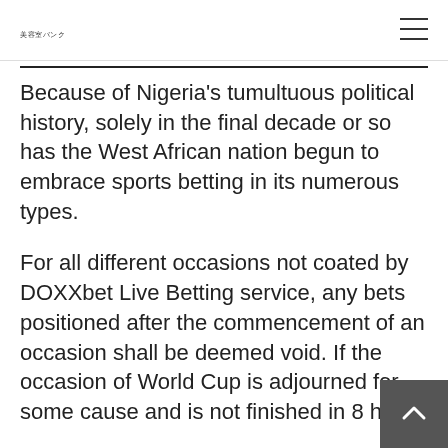美容室バンク
Because of Nigeria's tumultuous political history, solely in the final decade or so has the West African nation begun to embrace sports betting in its numerous types.
For all different occasions not coated by DOXXbet Live Betting service, any bets positioned after the commencement of an occasion shall be deemed void. If the occasion of World Cup is adjourned for some cause and is not finished in 8 hou